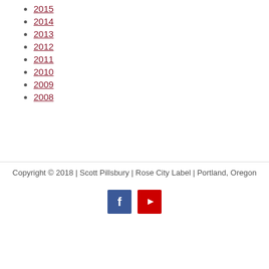2015
2014
2013
2012
2011
2010
2009
2008
Copyright © 2018 | Scott Pillsbury | Rose City Label | Portland, Oregon
[Figure (logo): Facebook and YouTube social media icons]